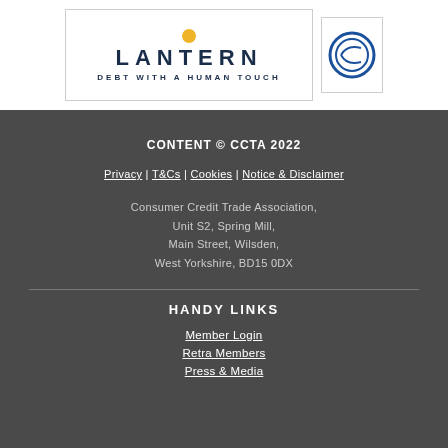[Figure (logo): Lantern logo with text LANTERN and tagline DEBT WITH A HUMAN TOUCH in a bordered box, with a yellow dot above the text]
[Figure (logo): CCTA circular logo in a bordered box]
CONTENT © CCTA 2022
Privacy | T&Cs | Cookies | Notice & Disclaimer
Consumer Credit Trade Association,
Unit S2, Spring Mill,
Main Street, Wilsden,
West Yorkshire, BD15 0DX
HANDY LINKS
Member Login
Retra Members
Press & Media